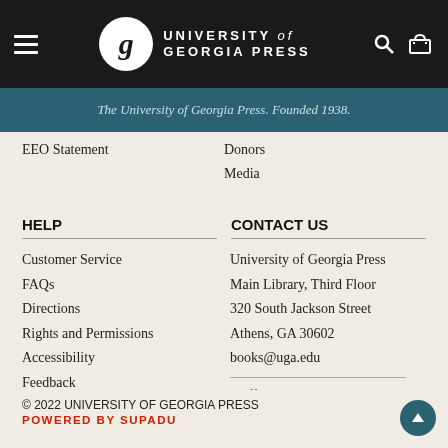University of Georgia Press
The University of Georgia Press. Founded 1938.
EEO Statement
Donors
Media
HELP
CONTACT US
Customer Service
FAQs
Directions
Rights and Permissions
Accessibility
Feedback
University of Georgia Press
Main Library, Third Floor
320 South Jackson Street
Athens, GA 30602
books@uga.edu
Staff Directory
Editors
© 2022 UNIVERSITY OF GEORGIA PRESS
POWERED BY SUPADU